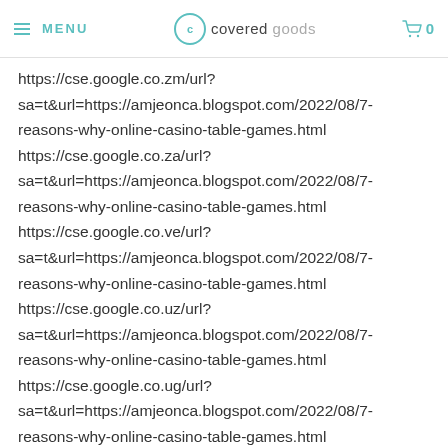≡ MENU | covered goods | 0
https://cse.google.co.zm/url?sa=t&url=https://amjeonca.blogspot.com/2022/08/7-reasons-why-online-casino-table-games.html https://cse.google.co.za/url?sa=t&url=https://amjeonca.blogspot.com/2022/08/7-reasons-why-online-casino-table-games.html https://cse.google.co.ve/url?sa=t&url=https://amjeonca.blogspot.com/2022/08/7-reasons-why-online-casino-table-games.html https://cse.google.co.uz/url?sa=t&url=https://amjeonca.blogspot.com/2022/08/7-reasons-why-online-casino-table-games.html https://cse.google.co.ug/url?sa=t&url=https://amjeonca.blogspot.com/2022/08/7-reasons-why-online-casino-table-games.html https://cse.google.co.th/url?sa=t&url=https://amjeonca.blogspot.com/2022/08/7-